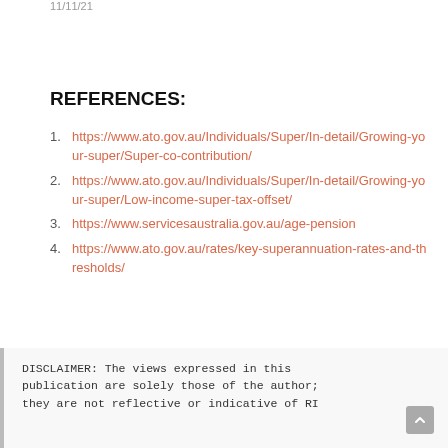11/11/21
REFERENCES:
https://www.ato.gov.au/Individuals/Super/In-detail/Growing-your-super/Super-co-contribution/
https://www.ato.gov.au/Individuals/Super/In-detail/Growing-your-super/Low-income-super-tax-offset/
https://www.servicesaustralia.gov.au/age-pension
https://www.ato.gov.au/rates/key-superannuation-rates-and-thresholds/
DISCLAIMER: The views expressed in this publication are solely those of the author; they are not reflective or indicative of RI